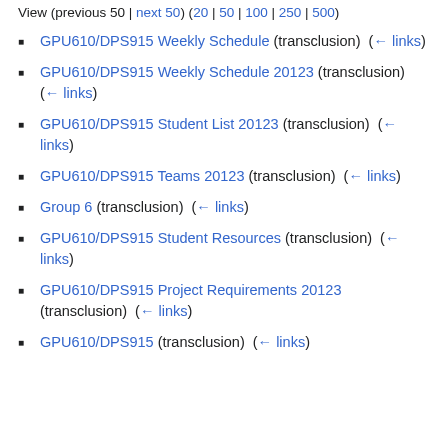View (previous 50 | next 50) (20 | 50 | 100 | 250 | 500)
GPU610/DPS915 Weekly Schedule (transclusion) (← links)
GPU610/DPS915 Weekly Schedule 20123 (transclusion) (← links)
GPU610/DPS915 Student List 20123 (transclusion) (← links)
GPU610/DPS915 Teams 20123 (transclusion) (← links)
Group 6 (transclusion) (← links)
GPU610/DPS915 Student Resources (transclusion) (← links)
GPU610/DPS915 Project Requirements 20123 (transclusion) (← links)
GPU610/DPS915 (transclusion) (← links)